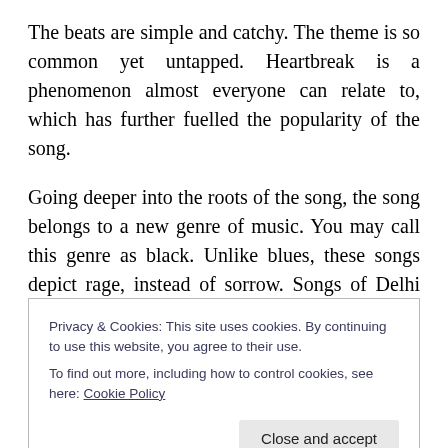The beats are simple and catchy. The theme is so common yet untapped. Heartbreak is a phenomenon almost everyone can relate to, which has further fuelled the popularity of the song.
Going deeper into the roots of the song, the song belongs to a new genre of music. You may call this genre as black. Unlike blues, these songs depict rage, instead of sorrow. Songs of Delhi Belly in particular, belonged to this new genre. The first stanza (interestingly) repeatedly uses the term- black. The second stanza too brings in the metaphor
Privacy & Cookies: This site uses cookies. By continuing to use this website, you agree to their use.
To find out more, including how to control cookies, see here: Cookie Policy
Close and accept